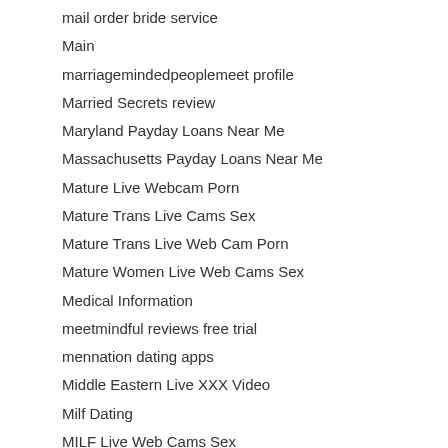mail order bride service
Main
marriagemindedpeoplemeet profile
Married Secrets review
Maryland Payday Loans Near Me
Massachusetts Payday Loans Near Me
Mature Live Webcam Porn
Mature Trans Live Cams Sex
Mature Trans Live Web Cam Porn
Mature Women Live Web Cams Sex
Medical Information
meetmindful reviews free trial
mennation dating apps
Middle Eastern Live XXX Video
Milf Dating
MILF Live Web Cams Sex
MILF Live XXX Porn